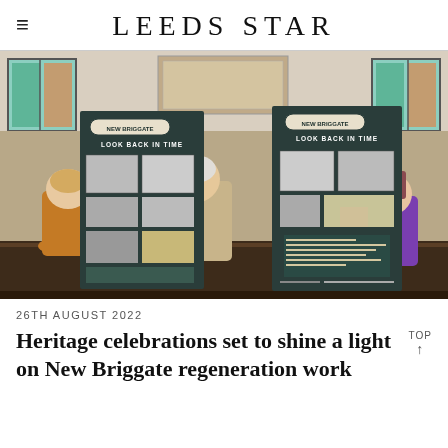LEEDS STAR
[Figure (photo): People standing and sitting in a church interior with ornate stained glass windows, viewing two tall exhibition display boards titled 'NEW BRIGGATE – LOOK BACK IN TIME' featuring historical photographs of the New Briggate area.]
26TH AUGUST 2022
Heritage celebrations set to shine a light on New Briggate regeneration work